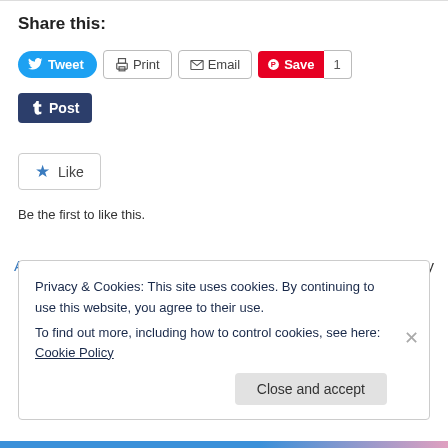Share this:
[Figure (screenshot): Social sharing buttons: Tweet (Twitter, blue), Print (grey border), Email (grey border), Save (Pinterest, red) with count 1, Post (Tumblr, dark navy)]
[Figure (screenshot): Like button with blue star icon and text 'Like']
Be the first to like this.
April 6, 2011   Leave a Reply
Privacy & Cookies: This site uses cookies. By continuing to use this website, you agree to their use.
To find out more, including how to control cookies, see here: Cookie Policy
Close and accept